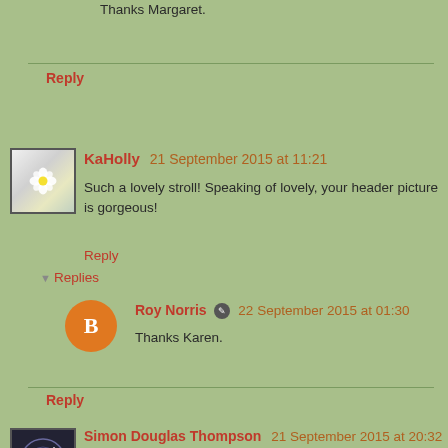Thanks Margaret.
Reply
KaHolly 21 September 2015 at 11:21
Such a lovely stroll! Speaking of lovely, your header picture is gorgeous!
Reply
Replies
Roy Norris 22 September 2015 at 01:30
Thanks Karen.
Reply
Simon Douglas Thompson 21 September 2015 at 20:32
I write about my area all the time, as you can probably tell, but in